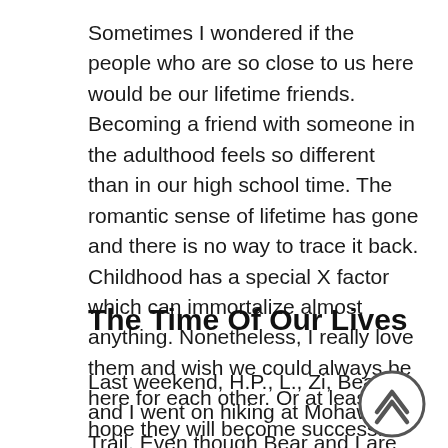Sometimes I wondered if the people who are so close to us here would be our lifetime friends. Becoming a friend with someone in the adulthood feels so different than in our high school time. The romantic sense of lifetime has gone and there is no way to trace it back. Childhood has a special X factor which can immortalize almost anything. Nonetheless, I really love them and wish we could always be here for each other. Or at least, I hope they will become successful and lead a happy life as they all deserve it.
The Time Of Our Lives
Last weekend, H.P., L., Zi, Bear and I went on hiking at Mohawk Trail. Even though Bear and I are as lazy as the laziest people you could imagine, Mohawk Trail had been on our bucket